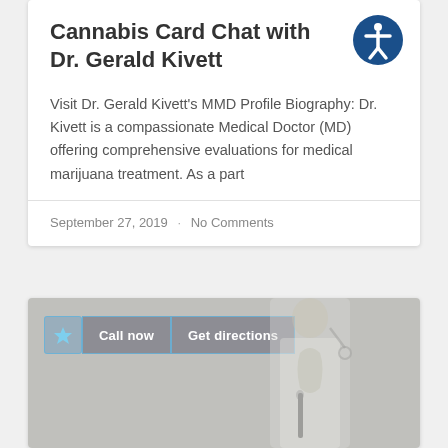Cannabis Card Chat with Dr. Gerald Kivett
Visit Dr. Gerald Kivett's MMD Profile Biography: Dr. Kivett is a compassionate Medical Doctor (MD) offering comprehensive evaluations for medical marijuana treatment. As a part
September 27, 2019  ·  No Comments
[Figure (screenshot): A photo showing a doctor in a white coat with a stethoscope, writing on paper. Overlaid UI elements show a call-to-action bar with a lightning bolt icon, 'Call now' button, and 'Get directions' button.]